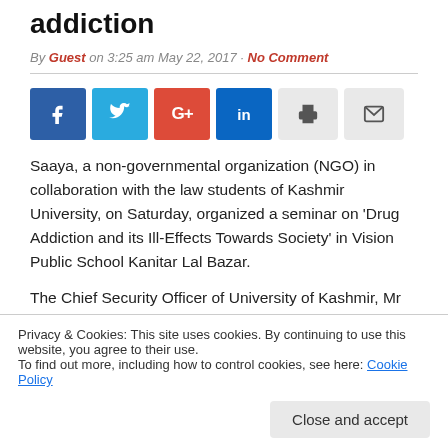addiction
By Guest on 3:25 am May 22, 2017 · No Comment
[Figure (other): Social sharing buttons: Facebook, Twitter, Google+, LinkedIn, Print, Email]
Saaya, a non-governmental organization (NGO) in collaboration with the law students of Kashmir University, on Saturday, organized a seminar on ‘Drug Addiction and its Ill-Effects Towards Society’ in Vision Public School Kanitar Lal Bazar.
The Chief Security Officer of University of Kashmir, Mr Ghulam Hassan, was the chief guest. He interacted with the
Privacy & Cookies: This site uses cookies. By continuing to use this website, you agree to their use.
To find out more, including how to control cookies, see here: Cookie Policy